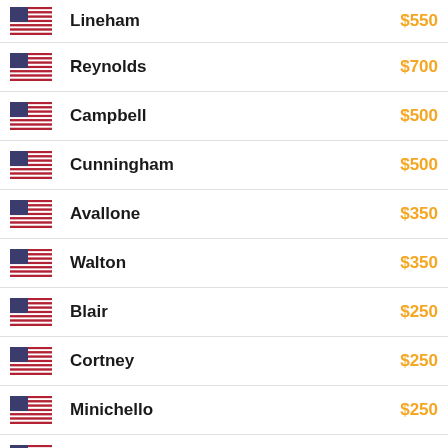| Flag | Name | Amount |
| --- | --- | --- |
| 🇺🇸 | Lineham | $550 |
| 🇺🇸 | Reynolds | $700 |
| 🇺🇸 | Campbell | $500 |
| 🇺🇸 | Cunningham | $500 |
| 🇺🇸 | Avallone | $350 |
| 🇺🇸 | Walton | $350 |
| 🇺🇸 | Blair | $250 |
| 🇺🇸 | Cortney | $250 |
| 🇺🇸 | Minichello | $250 |
| 🇺🇸 | Dickson | $250 |
| 🇺🇸 | Argentino | $150 |
| 🇺🇸 | Sepulveda | $150 |